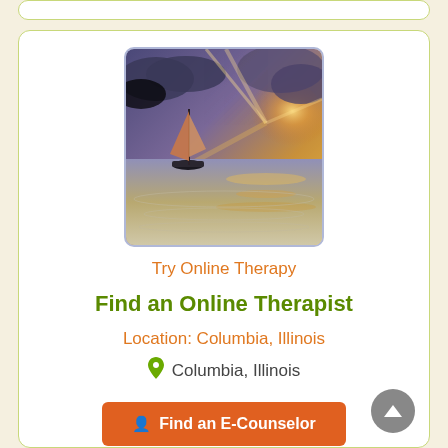[Figure (photo): Sailboat on calm water at sunset with dramatic clouds and golden light rays]
Try Online Therapy
Find an Online Therapist
Location: Columbia, Illinois
Columbia, Illinois
Find an E-Counselor